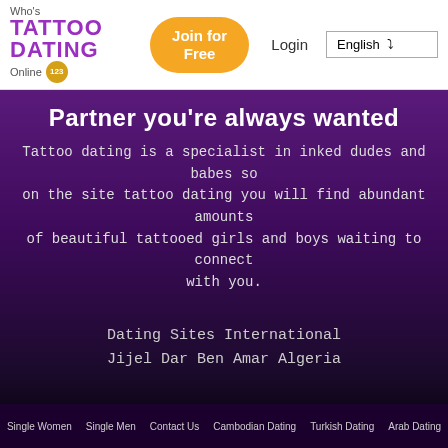Who's Online 123 | TATTOO DATING | Join for Free | Login | English
Partner you're always wanted
Tattoo dating is a specialist in inked dudes and babes so on the site tattoo dating you will find abundant amounts of beautiful tattooed girls and boys waiting to connect with you.
Dating Sites International
Jijel Dar Ben Amar Algeria
Single Women   Single Men   Contact Us   Cambodian Dating   Turkish Dating   Arab Dating